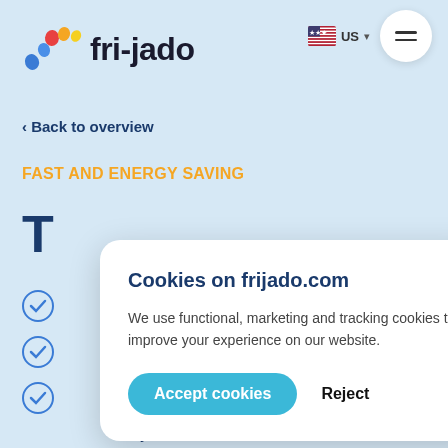[Figure (logo): Fri-jado logo with colorful dots arc and bold text 'fri-jado']
[Figure (infographic): US flag icon with 'US' text and dropdown arrow]
[Figure (other): Hamburger menu button in white circle]
< Back to overview
FAST AND ENERGY SAVING
T
Cookies on frijado.com
We use functional, marketing and tracking cookies to improve your experience on our website.
Accept cookies   Reject
ere in your store